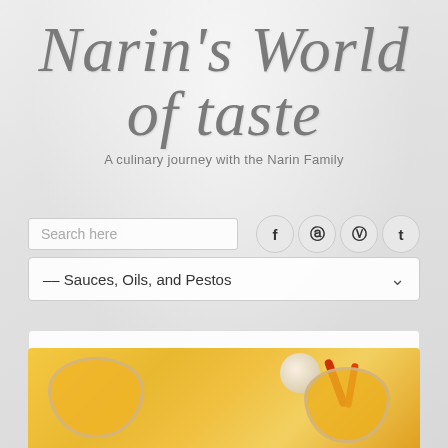Narin's World of Taste
A culinary journey with the Narin Family
Search here
–– Sauces, Oils, and Pestos
Sauces, Oils, and Pestos
[Figure (photo): Photo of glass jars filled with yellow/golden sauce, with red chili peppers and garlic cloves in the background, styled on a blue patterned surface]